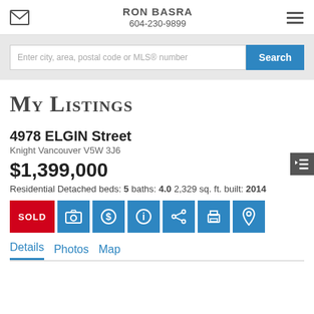RON BASRA 604-230-9899
Enter city, area, postal code or MLS® number
My Listings
4978 ELGIN Street
Knight Vancouver V5W 3J6
$1,399,000
Residential Detached beds: 5 baths: 4.0 2,329 sq. ft. built: 2014
SOLD
Details  Photos  Map